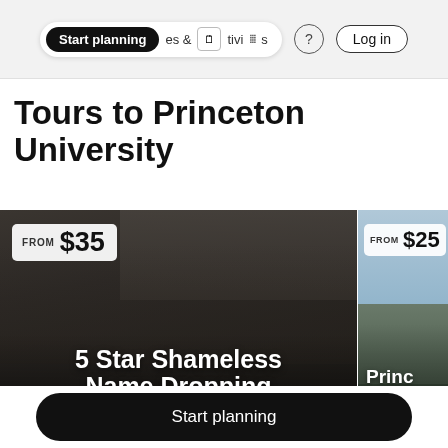Start planning | & Activities | ? | Log in
Tours to Princeton University
[Figure (photo): Tour card showing group of people smiling on stairs, with price badge 'FROM $35' and title '5 Star Shameless Name Dropping Walking Tour of']
[Figure (photo): Tour card showing Princeton campus building exterior, with price badge 'FROM $25' and partial title 'Princ Tour Mans']
Start planning